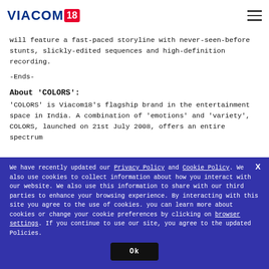VIACOM18
will feature a fast-paced storyline with never-seen-before stunts, slickly-edited sequences and high-definition recording.
-Ends-
About 'COLORS':
'COLORS' is Viacom18's flagship brand in the entertainment space in India. A combination of 'emotions' and 'variety', COLORS, launched on 21st July 2008, offers an entire spectrum
We have recently updated our Privacy Policy and Cookie Policy. We also use cookies to collect information about how you interact with our website. We also use this information to share with our third parties to enhance your browsing experience. By interacting with this site you agree to the use of cookies. you can learn more about cookies or change your cookie preferences by clicking on browser settings. If you continue to use our site, you agree to the updated Policies.